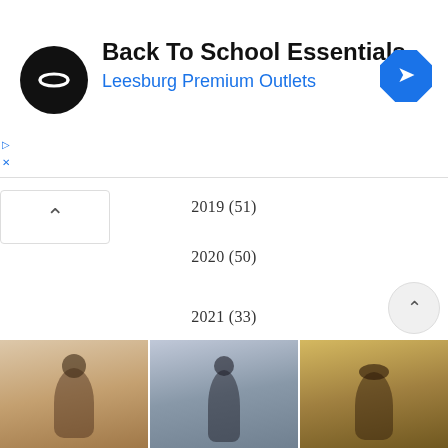[Figure (screenshot): Advertisement banner for Back To School Essentials at Leesburg Premium Outlets, with black circular logo on left, text in center, and blue diamond navigation icon on right.]
2019 (51)
2020 (50)
2021 (33)
2022 (8)
LATEST PINS
[Figure (photo): Three fashion/lifestyle photo thumbnails at the bottom of the page showing women in outdoor desert/nature settings.]